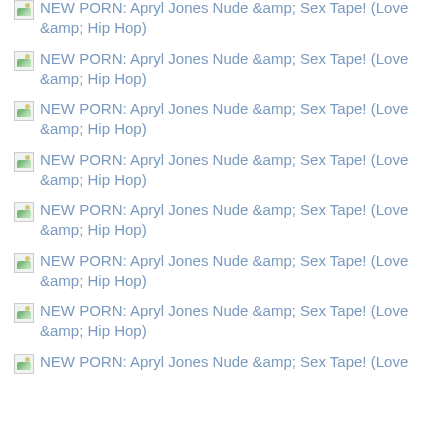[IMG] NEW PORN: Apryl Jones Nude &amp; Sex Tape! (Love &amp; Hip Hop)
[IMG] NEW PORN: Apryl Jones Nude &amp; Sex Tape! (Love &amp; Hip Hop)
[IMG] NEW PORN: Apryl Jones Nude &amp; Sex Tape! (Love &amp; Hip Hop)
[IMG] NEW PORN: Apryl Jones Nude &amp; Sex Tape! (Love &amp; Hip Hop)
[IMG] NEW PORN: Apryl Jones Nude &amp; Sex Tape! (Love &amp; Hip Hop)
[IMG] NEW PORN: Apryl Jones Nude &amp; Sex Tape! (Love &amp; Hip Hop)
[IMG] NEW PORN: Apryl Jones Nude &amp; Sex Tape! (Love &amp; Hip Hop)
[IMG] NEW PORN: Apryl Jones Nude &amp; Sex Tape! (Love